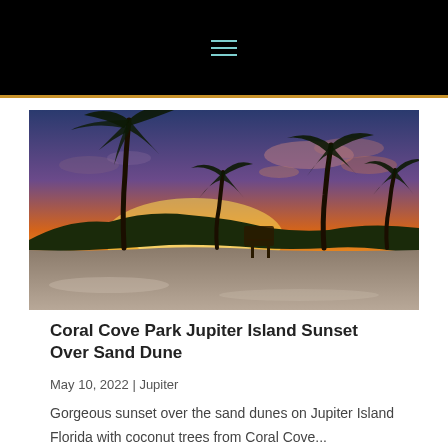☰ (navigation menu)
[Figure (photo): Sunset over sand dunes on Jupiter Island Florida with coconut palm trees silhouetted against an orange and purple sky, white sandy beach in foreground, lifeguard stand visible]
Coral Cove Park Jupiter Island Sunset Over Sand Dune
May 10, 2022 | Jupiter
Gorgeous sunset over the sand dunes on Jupiter Island Florida with coconut trees from Coral Cove...